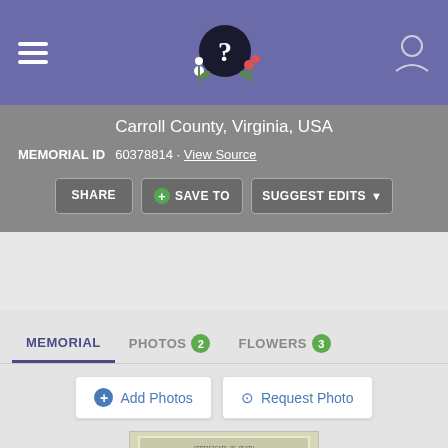Carroll County, Virginia, USA
MEMORIAL ID  60378814 · View Source
SHARE  SAVE TO  SUGGEST EDITS
MEMORIAL  PHOTOS 2  FLOWERS 3
Add Photos  Request Photo
[Figure (photo): Scanned document/certificate, appears to be a death certificate or similar official record from Carroll County, Virginia]